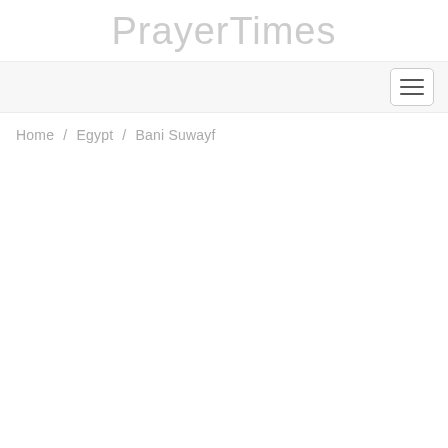PrayerTimes
[Figure (screenshot): Navigation bar with hamburger menu icon (three horizontal lines) on the right side, light gray background]
Home / Egypt / Bani Suwayf